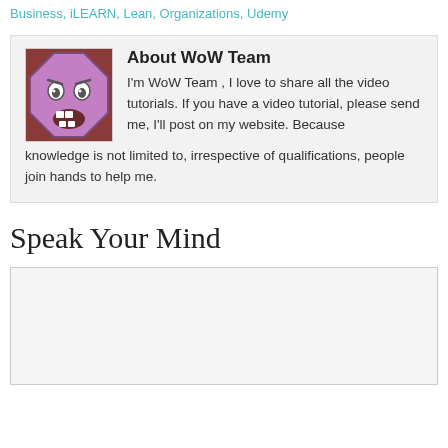Business, iLEARN, Lean, Organizations, Udemy
[Figure (illustration): Cartoon avatar of WoW Team: a purple scared/shocked face character with wide eyes and visible teeth, octagonal shape, on a red/brown background]
About WoW Team
I'm WoW Team , I love to share all the video tutorials. If you have a video tutorial, please send me, I'll post on my website. Because knowledge is not limited to, irrespective of qualifications, people join hands to help me.
Speak Your Mind